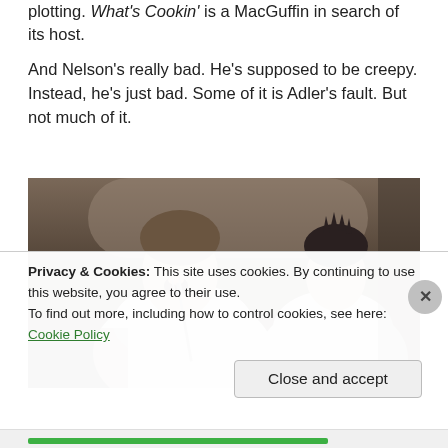plotting. What's Cookin' is a MacGuffin in search of its host.
And Nelson's really bad. He's supposed to be creepy. Instead, he's just bad. Some of it is Adler's fault. But not much of it.
[Figure (photo): Two men in white chef coats, one in foreground eating something from a utensil with mouth open, another man with dark spiky hair visible in background.]
Privacy & Cookies: This site uses cookies. By continuing to use this website, you agree to their use.
To find out more, including how to control cookies, see here: Cookie Policy
Close and accept